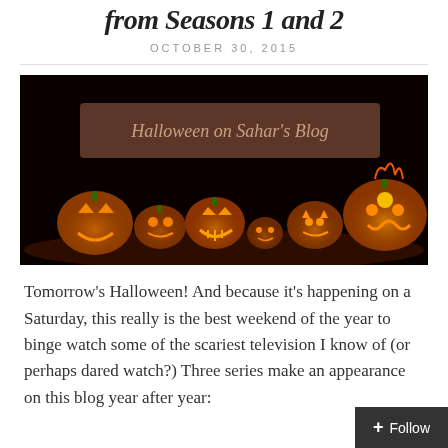from Seasons 1 and 2
OCTOBER 30, 2015
[Figure (photo): Jack-o-lanterns glowing in the dark with text overlay 'Halloween on Sahar's Blog']
Tomorrow's Halloween! And because it's happening on a Saturday, this really is the best weekend of the year to binge watch some of the scariest television I know of (or perhaps dared watch?) Three series make an appearance on this blog year after year: